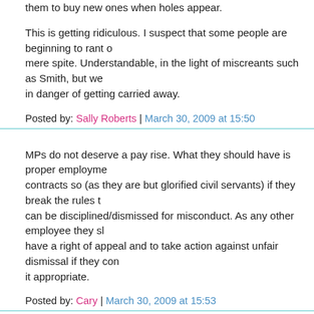them to buy new ones when holes appear.
This is getting ridiculous. I suspect that some people are beginning to rant out of mere spite. Understandable, in the light of miscreants such as Smith, but we are in danger of getting carried away.
Posted by: Sally Roberts | March 30, 2009 at 15:50
MPs do not deserve a pay rise. What they should have is proper employment contracts so (as they are but glorified civil servants) if they break the rules they can be disciplined/dismissed for misconduct. As any other employee they should have a right of appeal and to take action against unfair dismissal if they consider it appropriate.
Posted by: Cary | March 30, 2009 at 15:53
RE My previous comments on Daniel Hannan. Perhaps a future Prime Minister Cameron could appoint him as our next European Commissioner. That would really set the cat amongst the pigeons!!!!
Posted by: HYUFD | March 30, 2009 at 16:16
Sally